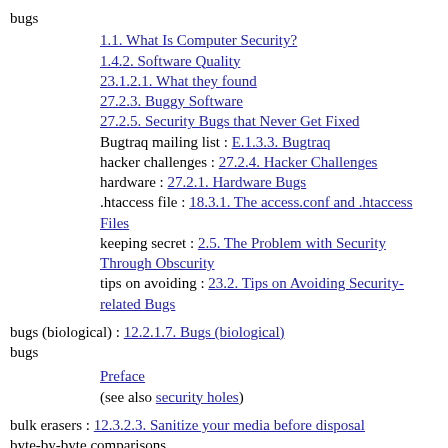bugs
1.1. What Is Computer Security?
1.4.2. Software Quality
23.1.2.1. What they found
27.2.3. Buggy Software
27.2.5. Security Bugs that Never Get Fixed
Bugtraq mailing list : E.1.3.3. Bugtraq
hacker challenges : 27.2.4. Hacker Challenges
hardware : 27.2.1. Hardware Bugs
.htaccess file : 18.3.1. The access.conf and .htaccess Files
keeping secret : 2.5. The Problem with Security Through Obscurity
tips on avoiding : 23.2. Tips on Avoiding Security-related Bugs
bugs (biological) : 12.2.1.7. Bugs (biological)
bugs
Preface
(see also security holes)
bulk erasers : 12.3.2.3. Sanitize your media before disposal
byte-by-byte comparisons
9.2.1. Comparison Copies